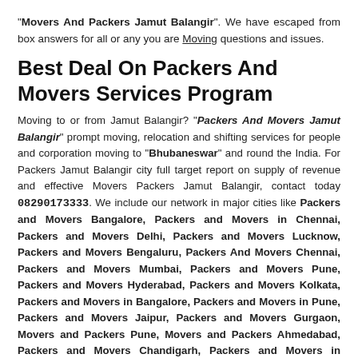"Movers And Packers Jamut Balangir". We have escaped from box answers for all or any you are Moving questions and issues.
Best Deal On Packers And Movers Services Program
Moving to or from Jamut Balangir? "Packers And Movers Jamut Balangir" prompt moving, relocation and shifting services for people and corporation moving to "Bhubaneswar" and round the India. For Packers Jamut Balangir city full target report on supply of revenue and effective Movers Packers Jamut Balangir, contact today 08290173333. We include our network in major cities like Packers and Movers Bangalore, Packers and Movers in Chennai, Packers and Movers Delhi, Packers and Movers Lucknow, Packers and Movers Bengaluru, Packers And Movers Chennai, Packers and Movers Mumbai, Packers and Movers Pune, Packers and Movers Hyderabad, Packers and Movers Kolkata, Packers and Movers in Bangalore, Packers and Movers in Pune, Packers and Movers Jaipur, Packers and Movers Gurgaon, Movers and Packers Pune, Movers and Packers Ahmedabad, Packers and Movers Chandigarh, Packers and Movers in Ahmedabad, Packers and Movers Patna, Packers and Movers Indore, Packers and Movers Bhopal. Compare Top Packers And Movers Jamut Balangir charges to save your money. We present